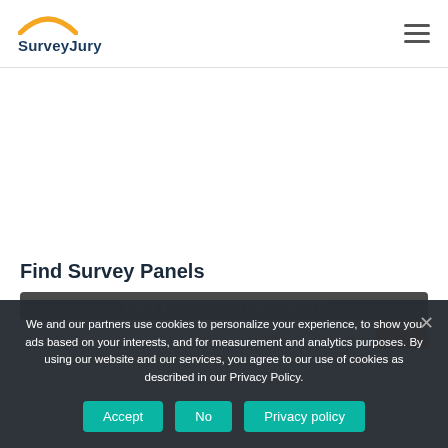SurveyJury
Find Survey Panels
Search ...
We and our partners use cookies to personalize your experience, to show you ads based on your interests, and for measurement and analytics purposes. By using our website and our services, you agree to our use of cookies as described in our Privacy Policy.
Accept  No  Privacy policy